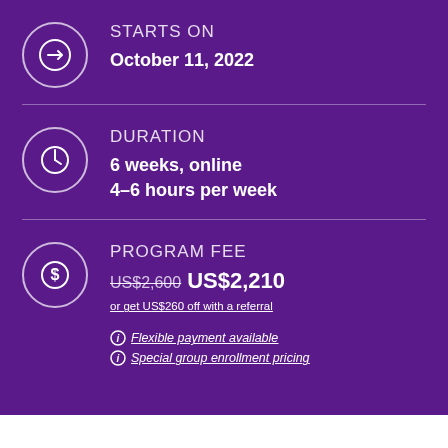STARTS ON
October 11, 2022
DURATION
6 weeks, online
4–6 hours per week
PROGRAM FEE
US$2,600 US$2,210 or get US$260 off with a referral
Flexible payment available
Special group enrollment pricing